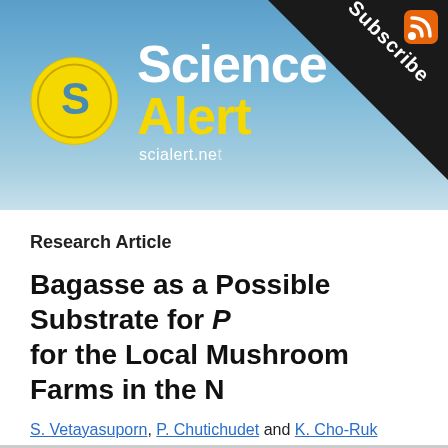[Figure (logo): Science Alert logo banner with circular S logo, 'Science Alert' text in white and yellow, scialert.net URL, and a subscribe corner overlay with RSS icon]
Research Article
Bagasse as a Possible Substrate for P[leurotus] for the Local Mushroom Farms in the [region]
S. Vetayasuporn, P. Chutichudet and K. Cho-Ruk
ABSTRACT